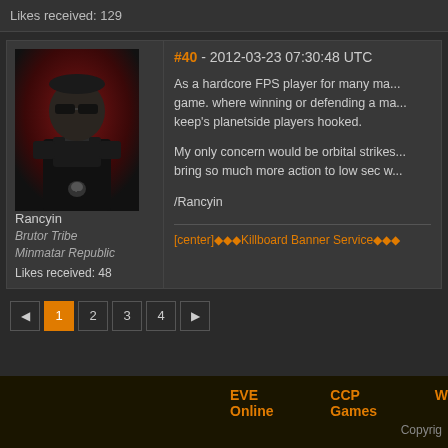Likes received: 129
[Figure (photo): Avatar of a male character in black armor with sunglasses against a dark red background]
Rancyin
Brutor Tribe
Minmatar Republic
Likes received: 48
#40 - 2012-03-23 07:30:48 UTC
As a hardcore FPS player for many ma... game. where winning or defending a ma... keep's planetside players hooked.
My only concern would be orbital strikes... bring so much more action to low sec w...
/Rancyin
[center]◆◆◆Killboard Banner Service◆◆◆
1 2 3 4 (pagination)
EVE Online    CCP Games    W
Copyrig